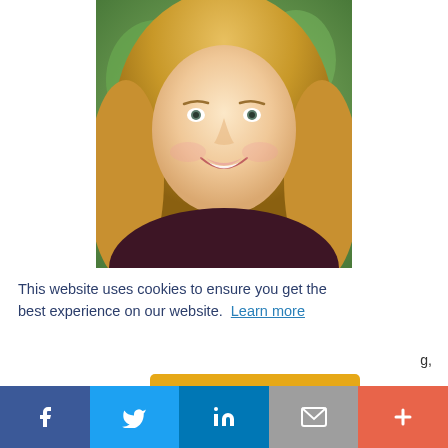[Figure (photo): Professional headshot of a blonde woman smiling, wearing a dark maroon top, with a blurred green background]
This website uses cookies to ensure you get the best experience on our website. Learn more
g,
[Figure (screenshot): Got it! button in yellow/gold color]
[Figure (infographic): Social share bar with Facebook, Twitter, LinkedIn, Email, and More buttons]